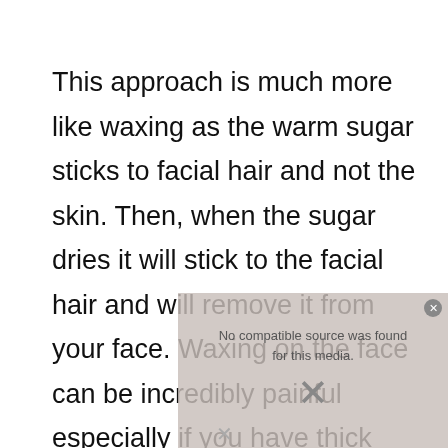This approach is much more like waxing as the warm sugar sticks to facial hair and not the skin. Then, when the sugar dries it will stick to the facial hair and will remove it from your face. Waxing on the face can be incredibly painful especially if you have thick hair so proceed with caution and start at the neck area of the beard. That way if you decide not to proceed with the rest of your face it will not look too weird.
[Figure (other): Video player overlay showing 'No compatible source was found for this media.' with an X icon, partially covering the text.]